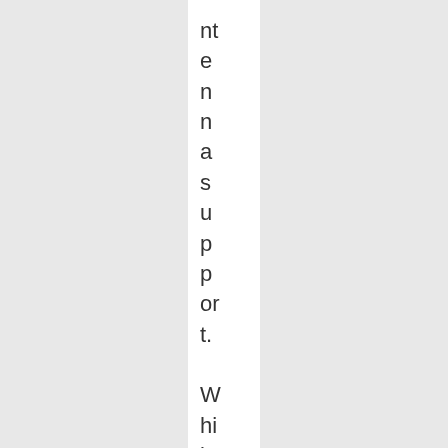ntennas support. While at Lowe's I also pick k